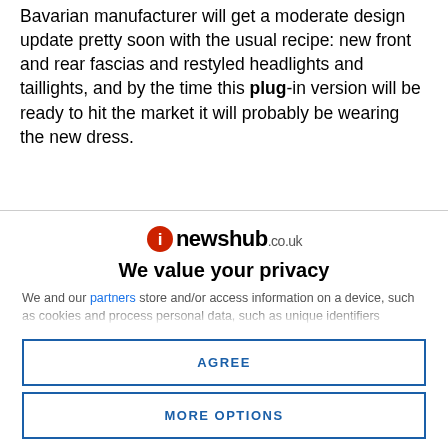Bavarian manufacturer will get a moderate design update pretty soon with the usual recipe: new front and rear fascias and restyled headlights and taillights, and by the time this plug-in version will be ready to hit the market it will probably be wearing the new dress.
[Figure (logo): newshub.co.uk logo with red circular icon and bold text]
We value your privacy
We and our partners store and/or access information on a device, such as cookies and process personal data, such as unique identifiers...
AGREE
MORE OPTIONS